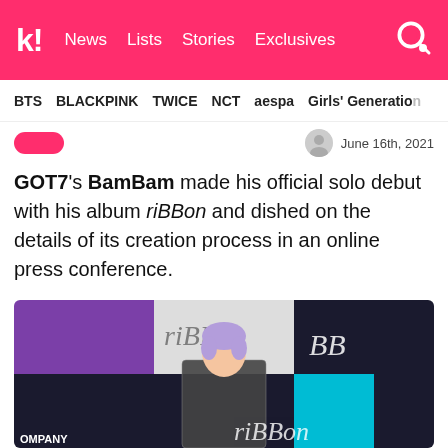Koreaboo | News | Lists | Stories | Exclusives
BTS   BLACKPINK   TWICE   NCT   aespa   Girls' Generation
June 16th, 2021
GOT7's BamBam made his official solo debut with his album riBBon and dished on the details of its creation process in an online press conference.
[Figure (photo): BamBam with lavender/purple hair standing in front of a riBBon album press conference backdrop, wearing a houndstooth blazer. The backdrop features purple, black, white, and teal panels with the riBBon logo.]